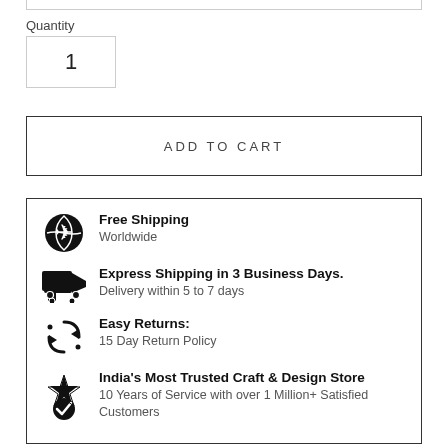Quantity
1
ADD TO CART
Free Shipping
Worldwide
Express Shipping in 3 Business Days.
Delivery within 5 to 7 days
Easy Returns:
15 Day Return Policy
India's Most Trusted Craft & Design Store
10 Years of Service with over 1 Million+ Satisfied Customers